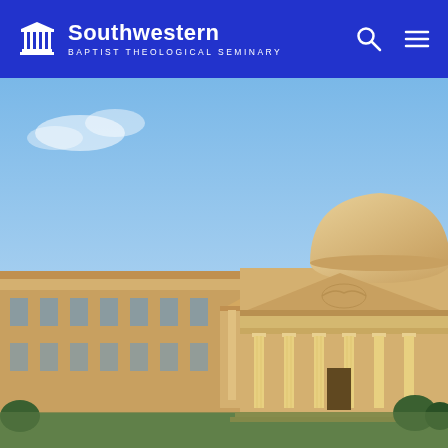Southwestern Baptist Theological Seminary
[Figure (photo): Exterior photograph of Southwestern Baptist Theological Seminary building with neoclassical architecture featuring large columns, pediment with decorative relief, and a dome, photographed at golden hour against a blue sky.]